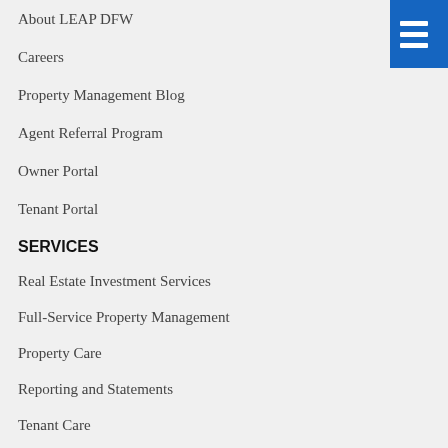About LEAP DFW
Careers
Property Management Blog
Agent Referral Program
Owner Portal
Tenant Portal
SERVICES
Real Estate Investment Services
Full-Service Property Management
Property Care
Reporting and Statements
Tenant Care
Property Management Fees